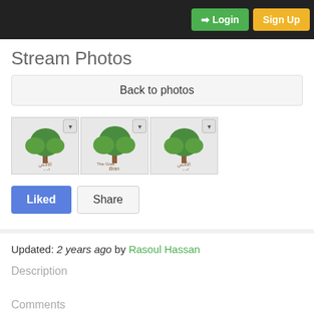Login  Sign Up
Stream Photos
Back to photos
[Figure (photo): Three thumbnail images of 'The Green Branch' logo (tree with Arabic text), each with a dropdown arrow overlay]
Liked  Share
Updated: 2 years ago by Rasoul Hassan
Description
Comments
1